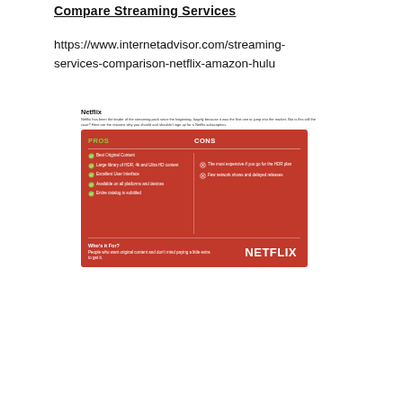Compare Streaming Services
https://www.internetadvisor.com/streaming-services-comparison-netflix-amazon-hulu
[Figure (infographic): Netflix pros and cons infographic on a red background. Shows a header 'Netflix' with a brief description, then a red card with two columns: PROS (Best Original Content, Large library of HDR, 4k and Ultra HD content, Excellent User Interface, Available on all platforms and devices, Entire catalog is subtitled) and CONS (The most expensive if you go for the HDR plan, Few network shows and delayed releases). Bottom section: Who's it For? People who want original content and don't mind paying a little extra to get it. Netflix logo displayed bottom right.]